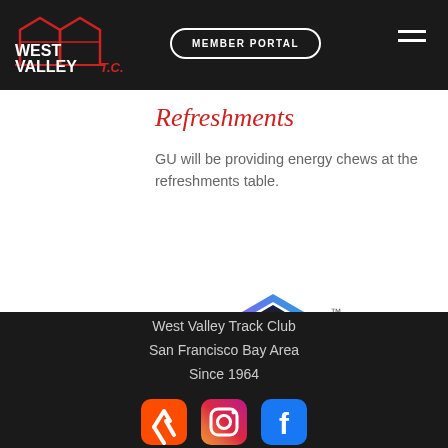West Valley T.C. | MEMBER PORTAL
Refreshments
GU will be providing energy chews at the refreshments table.
[Figure (logo): GU Energy Labs logo — dark navy hexagon shape with orange/blue border gradient, white 'GU' text, trademark symbol]
West Valley Track Club
San Francisco Bay Area
Since 1964